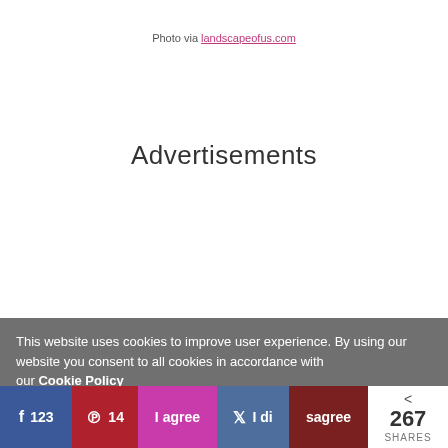Photo via landscapeofus.com
Advertisements
This website uses cookies to improve user experience. By using our website you consent to all cookies in accordance with our Cookie Policy
123 | 14 | agree | I disagree | 267 SHARES